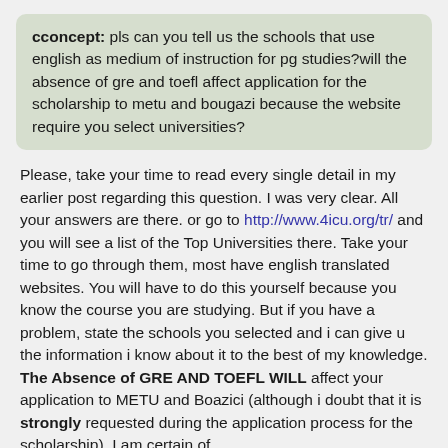cconcept: pls can you tell us the schools that use english as medium of instruction for pg studies?will the absence of gre and toefl affect application for the scholarship to metu and bougazi because the website require you select universities?
Please, take your time to read every single detail in my earlier post regarding this question. I was very clear. All your answers are there. or go to http://www.4icu.org/tr/ and you will see a list of the Top Universities there. Take your time to go through them, most have english translated websites. You will have to do this yourself because you know the course you are studying. But if you have a problem, state the schools you selected and i can give u the information i know about it to the best of my knowledge. The Absence of GRE AND TOEFL WILL affect your application to METU and Boazici (although i doubt that it is strongly requested during the application process for the scholarship). I am certain of the same being true for the award to the